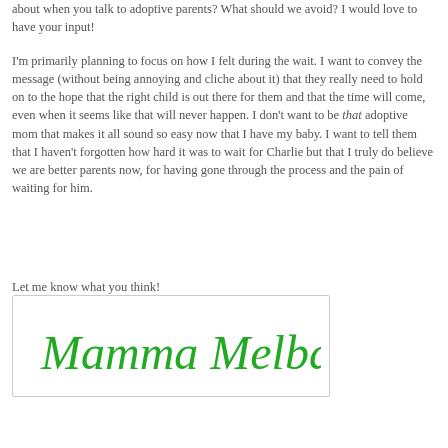about when you talk to adoptive parents? What should we avoid? I would love to have your input!
I'm primarily planning to focus on how I felt during the wait. I want to convey the message (without being annoying and cliche about it) that they really need to hold on to the hope that the right child is out there for them and that the time will come, even when it seems like that will never happen. I don't want to be that adoptive mom that makes it all sound so easy now that I have my baby. I want to tell them that I haven't forgotten how hard it was to wait for Charlie but that I truly do believe we are better parents now, for having gone through the process and the pain of waiting for him.
Let me know what you think!
[Figure (illustration): Handwritten cursive signature reading 'Mamma Melba' in green ink inside a rounded rectangle box]